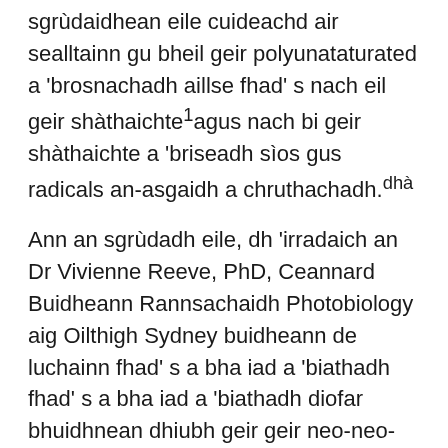sgrùdaidhean eile cuideachd air sealltainn gu bheil geir polyunataturated a 'brosnachadh aillse fhad' s nach eil geir shàthaichte¹agus nach bi geir shàthaichte a 'briseadh sìos gus radicals an-asgaidh a chruthachadh.dhà
Ann an sgrùdadh eile, dh 'irradaich an Dr Vivienne Reeve, PhD, Ceannard Buidheann Rannsachaidh Photobiology aig Oilthigh Sydney buidheann de luchainn fhad' s a bha iad a 'biathadh fhad' s a bha iad a 'biathadh diofar bhuidhnean dhiubh geir geir neo-neo-shàthaichte agus shàthaichte. Fhuair i a-mach gu robh na luchagan nach robh ag ithe ach geir shàthaichte air an dion gu h-iomlan bho aillse craiceann. Leasaich an fheadhainn anns a 'bhuidheann geir polyunsaturated aillse gu sgiobalta. Nas fhaide air adhart san sgrùdadh,